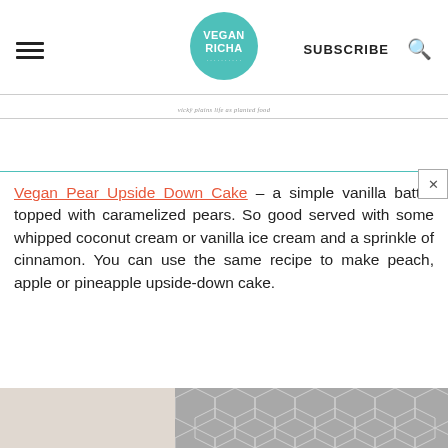VEGAN RICHA | SUBSCRIBE
Vegan Pear Upside Down Cake – a simple vanilla batter topped with caramelized pears. So good served with some whipped coconut cream or vanilla ice cream and a sprinkle of cinnamon. You can use the same recipe to make peach, apple or pineapple upside-down cake.
[Figure (photo): Bottom portion of a food blog page showing the start of an image, with a geometric patterned section visible]